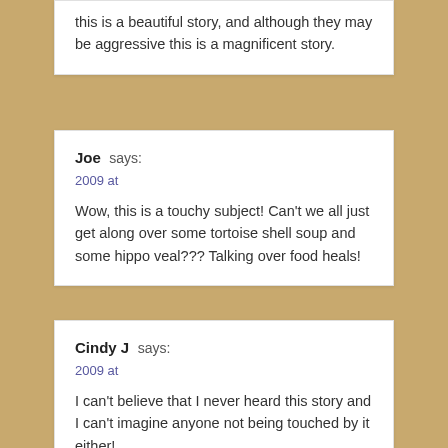this is a beautiful story, and although they may be aggressive this is a magnificent story.
Joe says:
2009 at

Wow, this is a touchy subject! Can't we all just get along over some tortoise shell soup and some hippo veal??? Talking over food heals!
Cindy J says:
2009 at

I can't believe that I never heard this story and I can't imagine anyone not being touched by it either!